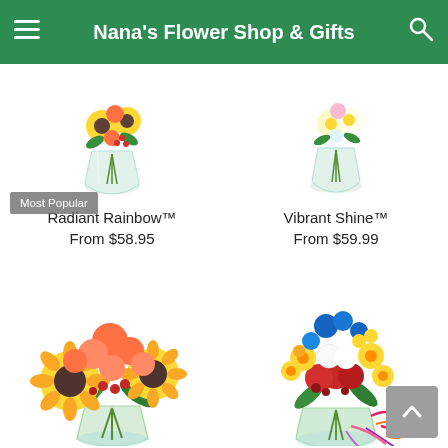Nana's Flower Shop & Gifts
[Figure (photo): Flower bouquet in vase - Radiant Rainbow]
Most Popular
Radiant Rainbow™
From $58.95
[Figure (photo): Flower bouquet in vase - Vibrant Shine]
Vibrant Shine™
From $59.99
[Figure (photo): Sunflower and orange rose bouquet in clear vase]
[Figure (photo): Colorful mixed flower bouquet with ribbons in clear vase]